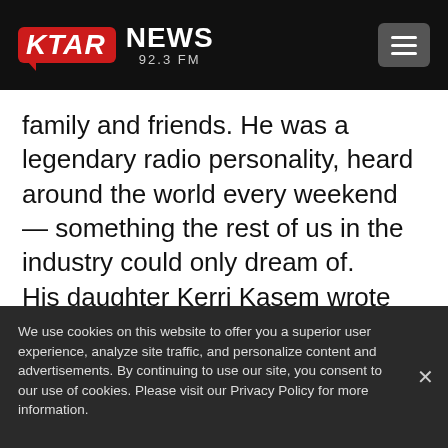KTAR NEWS 92.3 FM
family and friends. He was a legendary radio personality, heard around the world every weekend — something the rest of us in the industry could only dream of.
His daughter Kerri Kasem wrote this on Twitter and Facebook:
We use cookies on this website to offer you a superior user experience, analyze site traffic, and personalize content and advertisements. By continuing to use our site, you consent to our use of cookies. Please visit our Privacy Policy for more information.